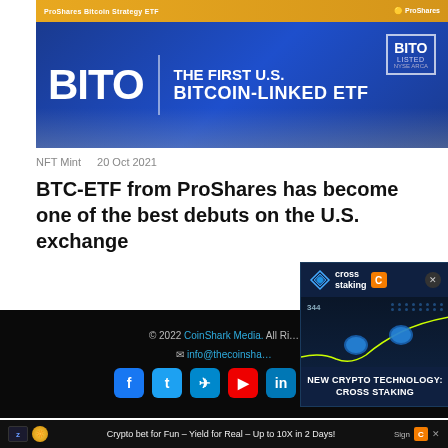[Figure (photo): Photo of a building exterior (likely NYSE) with a large blue BITO banner reading 'BITO | THE FIRST U.S. BITCOIN-LINKED ETF' with 'BITO LISTED' box on the right, and a gold ProShares Bitcoin Strategy ETF banner above]
NFT Mint   20 Oct 2021
BTC-ETF from ProShares has become one of the best debuts on the U.S. exchange
[Figure (screenshot): Cross Staking advertisement popup with logo, chart showing '344', and text 'NEW CRYPTO TECHNOLOGY: CROSS STAKING']
© 2022 CoinShark Media. All Rights Reserved   info@thecoinshark...
[Figure (screenshot): Bottom advertisement bar: Zephyr logo, 'Crypto bet for Fun – Yield for Real – Up to 10X in 2 Days!' with close button]